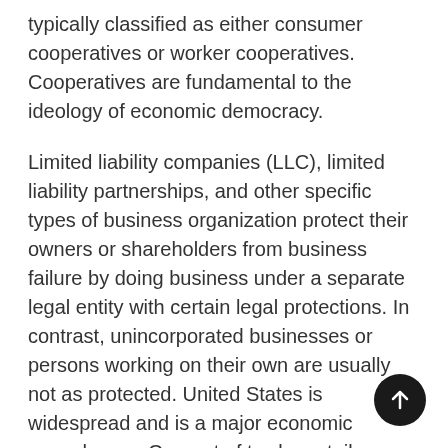typically classified as either consumer cooperatives or worker cooperatives. Cooperatives are fundamental to the ideology of economic democracy.
Limited liability companies (LLC), limited liability partnerships, and other specific types of business organization protect their owners or shareholders from business failure by doing business under a separate legal entity with certain legal protections. In contrast, unincorporated businesses or persons working on their own are usually not as protected. United States is widespread and is a major economic powerhouse. One out of twelve retail businesses in the United States are franchised and 8 million people are employed in a franchised business